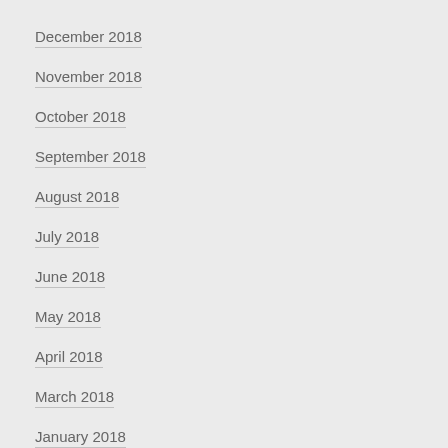December 2018
November 2018
October 2018
September 2018
August 2018
July 2018
June 2018
May 2018
April 2018
March 2018
January 2018
December 2017
November 2017
October 2017